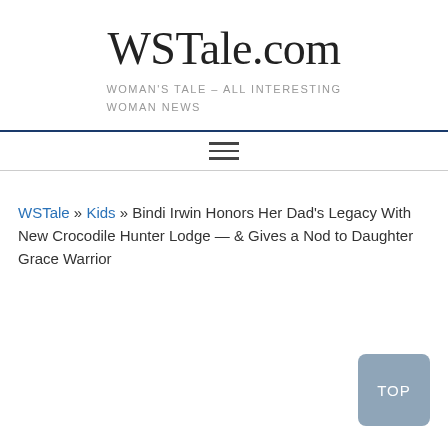WSTale.com
WOMAN'S TALE – ALL INTERESTING WOMAN NEWS
Navigation menu
WSTale » Kids » Bindi Irwin Honors Her Dad's Legacy With New Crocodile Hunter Lodge — & Gives a Nod to Daughter Grace Warrior